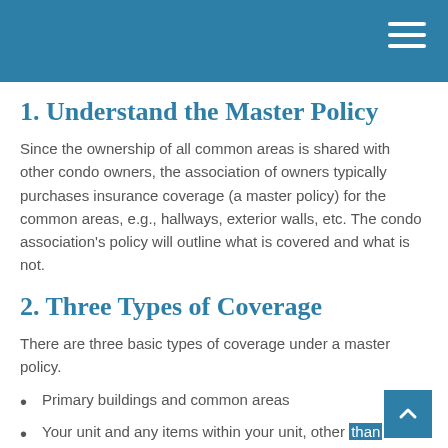1. Understand the Master Policy
Since the ownership of all common areas is shared with other condo owners, the association of owners typically purchases insurance coverage (a master policy) for the common areas, e.g., hallways, exterior walls, etc. The condo association's policy will outline what is covered and what is not.
2. Three Types of Coverage
There are three basic types of coverage under a master policy.
Primary buildings and common areas
Your unit and any items within your unit, other than personal belongings
Building suite and comfort...